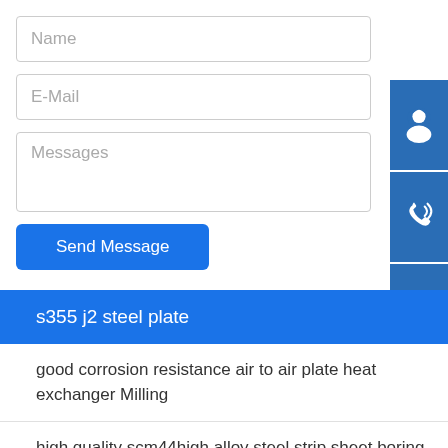Name
E-Mail
Messages
Send Message
[Figure (infographic): Three blue square icon buttons on the right side: a customer support headset icon, a phone with signal waves icon, and a Skype logo icon.]
s355 j2 steel plate
good corrosion resistance air to air plate heat exchanger Milling
high quality scm44high alloy steel strip sheet boring
prepainted galvalume steel sheet aluzinc coated